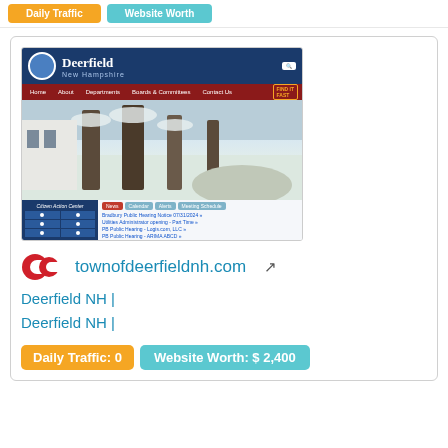[Figure (screenshot): Screenshot of the Town of Deerfield, New Hampshire official website (townofdeerfieldnh.com), showing the site header with logo and navigation, a winter snow scene photo, citizen action center, and news items. Watermark 'sitelike.org' visible.]
[Figure (logo): CP (red circular logo) icon for sitelike.org]
townofdeerfieldnh.com
Deerfield NH |
Deerfield NH |
Daily Traffic: 0
Website Worth: $ 2,400